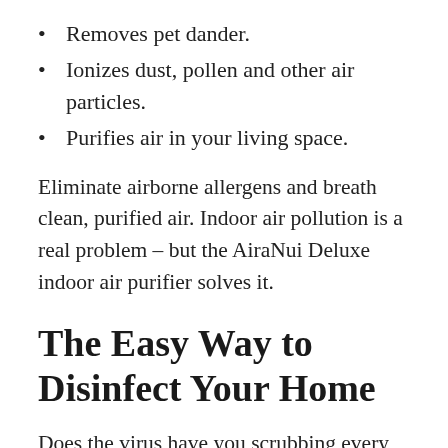Removes pet dander.
Ionizes dust, pollen and other air particles.
Purifies air in your living space.
Eliminate airborne allergens and breath clean, purified air. Indoor air pollution is a real problem – but the AiraNui Deluxe indoor air purifier solves it.
The Easy Way to Disinfect Your Home
Does the virus have you scrubbing every